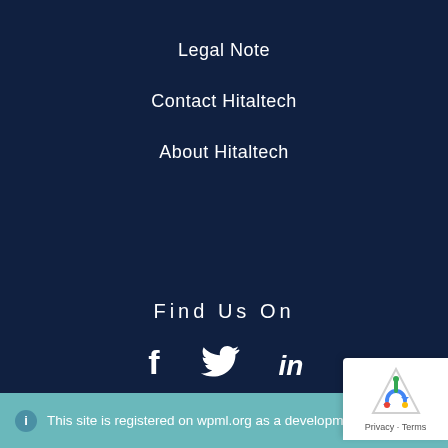Legal Note
Contact Hitaltech
About Hitaltech
Find Us On
[Figure (infographic): Social media icons: Facebook, Twitter, LinkedIn]
This site is registered on wpml.org as a development site